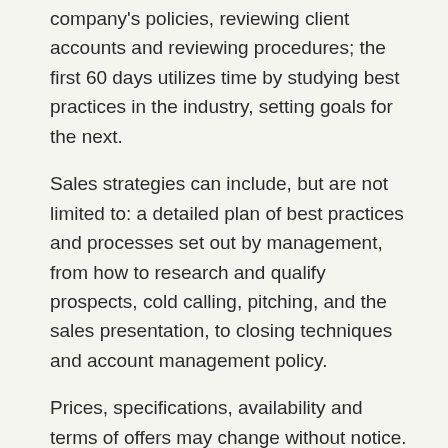company's policies, reviewing client accounts and reviewing procedures; the first 60 days utilizes time by studying best practices in the industry, setting goals for the next.
Sales strategies can include, but are not limited to: a detailed plan of best practices and processes set out by management, from how to research and qualify prospects, cold calling, pitching, and the sales presentation, to closing techniques and account management policy.
Prices, specifications, availability and terms of offers may change without notice.
| Real news, curated by real humans | Best source of sales best practices and techniques. Lori has encouraged and pushed our community to take this |